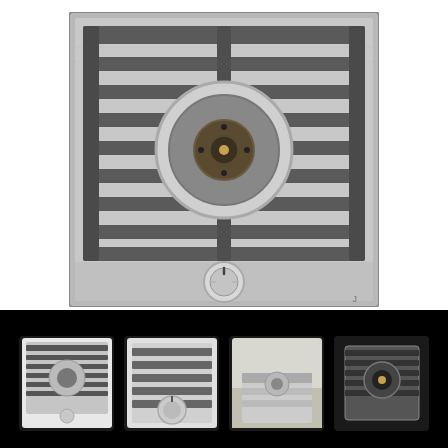[Figure (photo): A single-burner gas cooktop with stainless steel finish, featuring a large circular Wok/gas burner in the center, covered by a cast iron grate with horizontal slats, and a single control knob at the front bottom.]
[Figure (photo): Thumbnail 1: Small image of the same gas cooktop from above showing the grate and bottom knob.]
[Figure (photo): Thumbnail 2: Close-up of the cooktop showing the control knob detail.]
[Figure (photo): Thumbnail 3: Side or angled view showing cooktop in a kitchen setting.]
[Figure (photo): Thumbnail 4: Top-down view of the cooktop on dark/black background.]